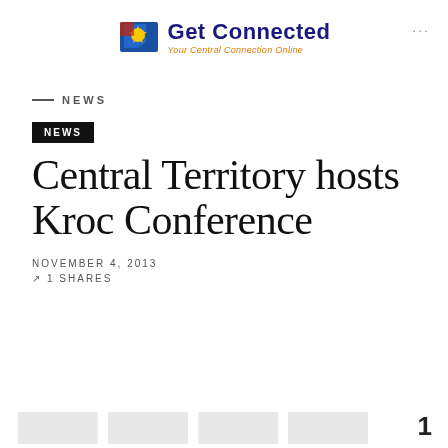[Figure (logo): Get Connected logo with stylized map icon, blue bold text 'Get Connected' and orange italic subtitle 'Your Central Connection Online']
NEWS
NEWS
Central Territory hosts Kroc Conference
NOVEMBER 4, 2013
1 SHARES
1